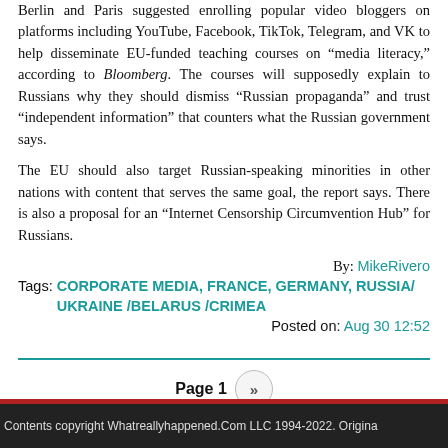Berlin and Paris suggested enrolling popular video bloggers on platforms including YouTube, Facebook, TikTok, Telegram, and VK to help disseminate EU-funded teaching courses on “media literacy,” according to Bloomberg. The courses will supposedly explain to Russians why they should dismiss “Russian propaganda” and trust “independent information” that counters what the Russian government says.
The EU should also target Russian-speaking minorities in other nations with content that serves the same goal, the report says. There is also a proposal for an “Internet Censorship Circumvention Hub” for Russians.
By: MikeRivero
Tags: CORPORATE MEDIA, FRANCE, GERMANY, RUSSIA/ UKRAINE /BELARUS /CRIMEA
Posted on: Aug 30 12:52
Contents copyright Whatreallyhappened.Com LLC 1994-2022. Origina